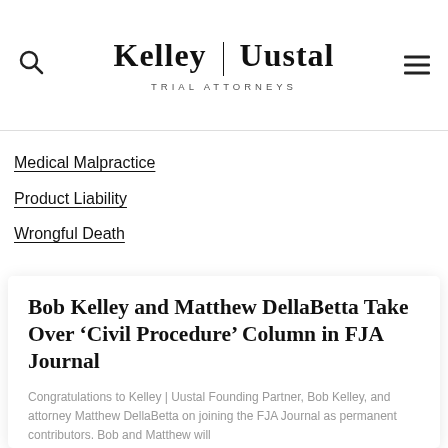Kelley | Uustal — TRIAL ATTORNEYS
Medical Malpractice
Product Liability
Wrongful Death
Bob Kelley and Matthew DellaBetta Take Over ‘Civil Procedure’ Column in FJA Journal
Congratulations to Kelley | Uustal Founding Partner, Bob Kelley, and attorney Matthew DellaBetta on joining the FJA Journal as permanent contributors. Bob and Matthew will
READ MORE